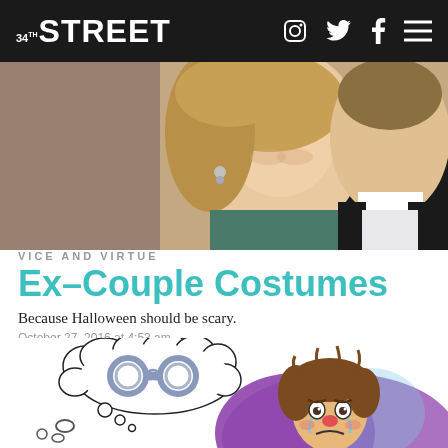34th STREET
[Figure (photo): Two celebrities (a woman with blonde hair and a man in a dark suit) smiling together at what appears to be a formal event.]
VICE AND VIRTUE
Ex–Couple Costumes
Because Halloween should be scary.
October 27, 2016 at 4:53 am
[Figure (illustration): Cartoon illustration of a sad crying person with messy brown hair wearing a purple outfit, with a thought bubble containing handcuffs, and small broken ring/chain pieces nearby.]